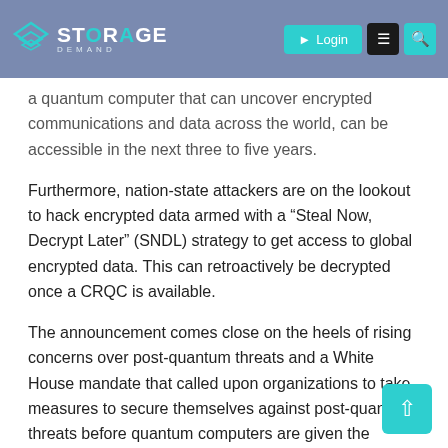Storage Demand | Login
a quantum computer that can uncover encrypted communications and data across the world, can be accessible in the next three to five years.
Furthermore, nation-state attackers are on the lookout to hack encrypted data armed with a “Steal Now, Decrypt Later” (SNDL) strategy to get access to global encrypted data. This can retroactively be decrypted once a CRQC is available.
The announcement comes close on the heels of rising concerns over post-quantum threats and a White House mandate that called upon organizations to take measures to secure themselves against post-quantum threats before quantum computers are given the computing power needed to decrypt traditional public-key algorithms.